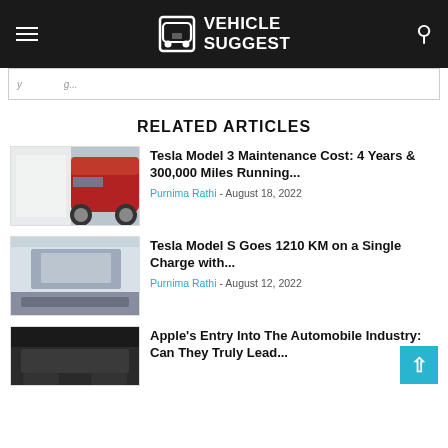VEHICLE SUGGEST
...y ... ...g...
RELATED ARTICLES
[Figure (photo): Red Tesla Model 3 with document]
Tesla Model 3 Maintenance Cost: 4 Years & 300,000 Miles Running...
Purnima Rathi - August 18, 2022
[Figure (photo): Tesla showroom building with crowd]
Tesla Model S Goes 1210 KM on a Single Charge with...
Purnima Rathi - August 12, 2022
[Figure (photo): Dark car partially visible at bottom]
Apple's Entry Into The Automobile Industry: Can They Truly Lead...